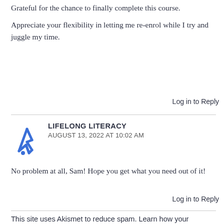Grateful for the chance to finally complete this course. Appreciate your flexibility in letting me re-enrol while I try and juggle my time.
Log in to Reply
LIFELONG LITERACY
AUGUST 13, 2022 AT 10:02 AM
No problem at all, Sam! Hope you get what you need out of it!
Log in to Reply
This site uses Akismet to reduce spam. Learn how your